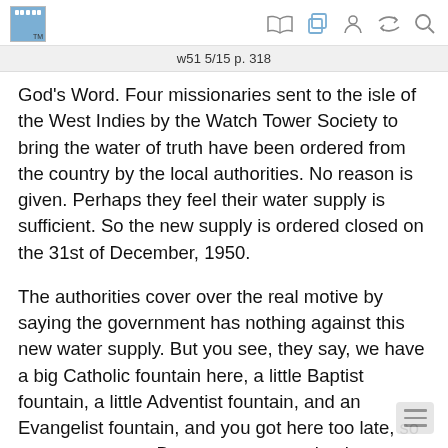w51 5/15 p. 318
God’s Word. Four missionaries sent to the isle of the West Indies by the Watch Tower Society to bring the water of truth have been ordered from the country by the local authorities. No reason is given. Perhaps they feel their water supply is sufficient. So the new supply is ordered closed on the 31st of December, 1950.
The authorities cover over the real motive by saying the government has nothing against this new water supply. But you see, they say, we have a big Catholic fountain here, a little Baptist fountain, a little Adventist fountain, and an Evangelist fountain, and you got here too late, so you cannot stay. But you may come back as tourists for up to three months, but you must not establish a water supply system on the island.